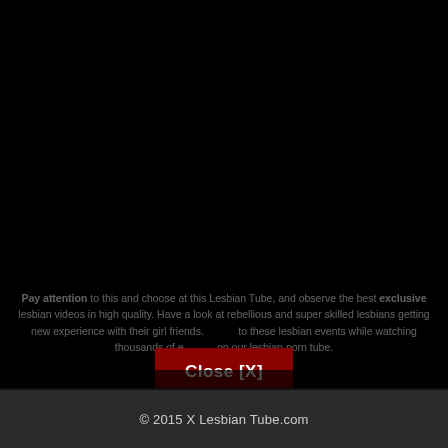[Figure (screenshot): Black background overlay covering most of the page]
Pay attention to this and choose at this Lesbian Tube, and observe the best exclusive videos in high quality. Have a look at rebellious and super skilled lesbians getting new experience with their girl friends. ments to these lesbian events while watching thousands of e on our lesbian porn tube.
Close [X]
© 2015 X Lesbian Tube.com